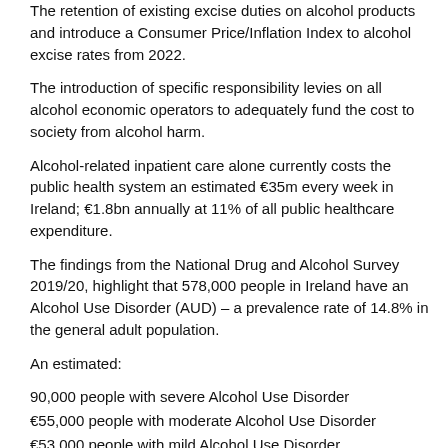The retention of existing excise duties on alcohol products and introduce a Consumer Price/Inflation Index to alcohol excise rates from 2022.
The introduction of specific responsibility levies on all alcohol economic operators to adequately fund the cost to society from alcohol harm.
Alcohol-related inpatient care alone currently costs the public health system an estimated €35m every week in Ireland; €1.8bn annually at 11% of all public healthcare expenditure.
The findings from the National Drug and Alcohol Survey 2019/20, highlight that 578,000 people in Ireland have an Alcohol Use Disorder (AUD) – a prevalence rate of 14.8% in the general adult population.
An estimated:
90,000 people with severe Alcohol Use Disorder
€55,000 people with moderate Alcohol Use Disorder
€53,000 people with mild Alcohol Use Disorder.